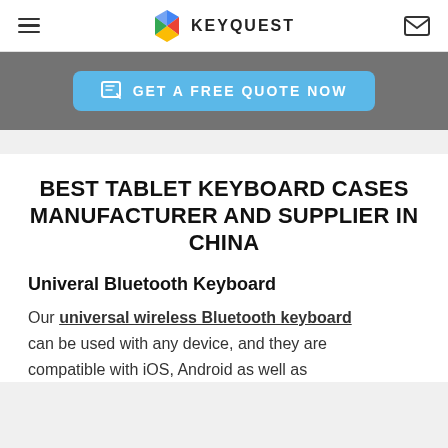KEYQUEST
[Figure (other): GET A FREE QUOTE NOW button banner on gray background]
BEST TABLET KEYBOARD CASES MANUFACTURER AND SUPPLIER IN CHINA
Univeral Bluetooth Keyboard
Our universal wireless Bluetooth keyboard can be used with any device, and they are compatible with iOS, Android as well as